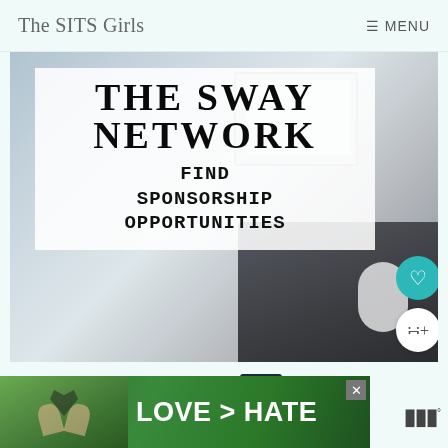The SITS Girls  ☰ MENU
[Figure (photo): Hero image for 'The Sway Network - Find Sponsorship Opportunities' with a desk/laptop background and white overlay text]
WHAT'S NEXT → Happy Little Wonders
[Figure (photo): Partial second article image below, showing a bright desk scene]
[Figure (photo): Bottom ad banner: LOVE > HATE with heart-hands image on green background]